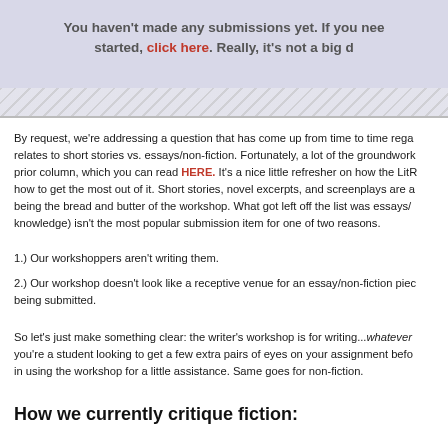[Figure (screenshot): Banner with light blue-gray background showing text: 'You haven't made any submissions yet. If you need help getting started, click here. Really, it's not a big d...' with a decorative hatched border at bottom.]
By request, we're addressing a question that has come up from time to time rega... relates to short stories vs. essays/non-fiction. Fortunately, a lot of the groundwork... prior column, which you can read HERE. It's a nice little refresher on how the LitR... how to get the most out of it. Short stories, novel excerpts, and screenplays are a... being the bread and butter of the workshop. What got left off the list was essays/... knowledge) isn't the most popular submission item for one of two reasons.
1.) Our workshoppers aren't writing them.
2.) Our workshop doesn't look like a receptive venue for an essay/non-fiction pie... being submitted.
So let's just make something clear: the writer's workshop is for writing...whatever... you're a student looking to get a few extra pairs of eyes on your assignment befo... in using the workshop for a little assistance. Same goes for non-fiction.
How we currently critique fiction: